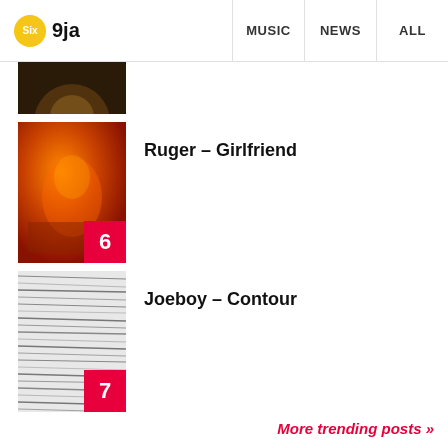Six 9ja | MUSIC | NEWS | ALL
[Figure (photo): Partial album art at top, dark golden/brown tones]
6 Ruger – Girlfriend
[Figure (photo): Album art for Ruger – Girlfriend, orange/fire tones with artist figure]
7 Joeboy – Contour
[Figure (photo): Album art for Joeboy – Contour, black and white wavy lines pattern]
More trending posts »
YOU MAY LIKE
[Figure (photo): Thumbnail of person for Boss-T feature article]
Boss-T Ft. Busta 929, Zuma,